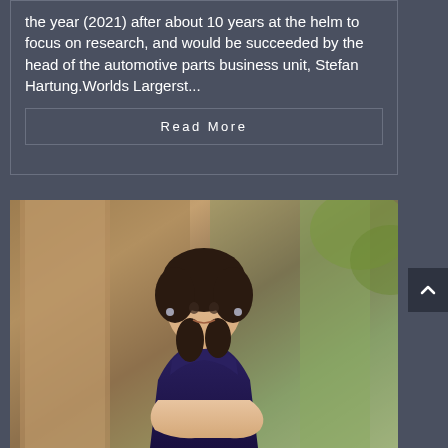the year (2021) after about 10 years at the helm to focus on research, and would be succeeded by the head of the automotive parts business unit, Stefan Hartung.Worlds Largerst...
Read More
[Figure (photo): Portrait photo of a young woman with dark curly hair, wearing a dark navy/purple sleeveless top, sitting with hands clasped, looking slightly upward. Background shows blurred warm-toned stone or brick architectural elements and some greenery.]